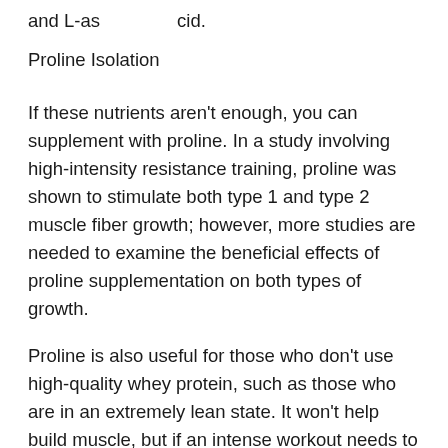and L-as cid.
Proline Isolation
If these nutrients aren't enough, you can supplement with proline. In a study involving high-intensity resistance training, proline was shown to stimulate both type 1 and type 2 muscle fiber growth; however, more studies are needed to examine the beneficial effects of proline supplementation on both types of growth.
Proline is also useful for those who don't use high-quality whey protein, such as those who are in an extremely lean state. It won't help build muscle, but if an intense workout needs to be conducted in a short time, proline will keep a steady supply of energy in your system. It provides a boost to your brain's concentration level and can allow you to